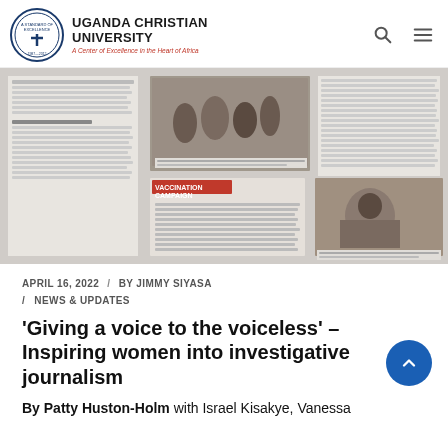Uganda Christian University — A Center of Excellence in the Heart of Africa
[Figure (photo): Newspaper article with photos showing vaccination campaign coverage and people waiting for COVID-19 jab at Kitawo Health Centre in Kampala, with text columns and a headline 'VACCINATION CAMPAIGN']
APRIL 16, 2022 / BY JIMMY SIYASA
/ NEWS & UPDATES
'Giving a voice to the voiceless' – Inspiring women into investigative journalism
By Patty Huston-Holm with Israel Kisakye, Vanessa